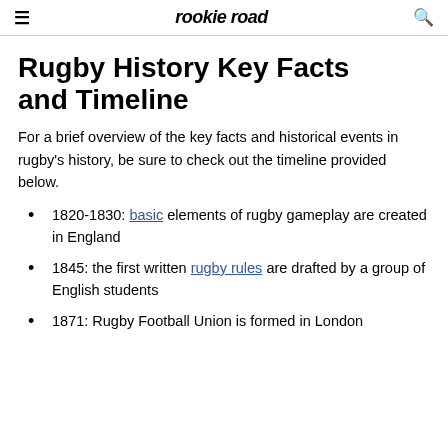rookie road
Rugby History Key Facts and Timeline
For a brief overview of the key facts and historical events in rugby's history, be sure to check out the timeline provided below.
1820-1830: basic elements of rugby gameplay are created in England
1845: the first written rugby rules are drafted by a group of English students
1871: Rugby Football Union is formed in London